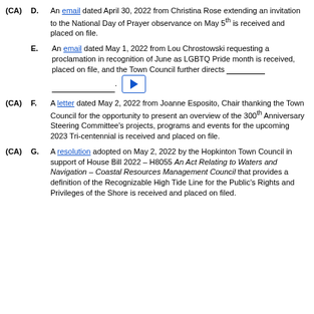(CA) D. An email dated April 30, 2022 from Christina Rose extending an invitation to the National Day of Prayer observance on May 5th is received and placed on file.
E. An email dated May 1, 2022 from Lou Chrostowski requesting a proclamation in recognition of June as LGBTQ Pride month is received, placed on file, and the Town Council further directs _____ ___________. [video play button]
(CA) F. A letter dated May 2, 2022 from Joanne Esposito, Chair thanking the Town Council for the opportunity to present an overview of the 300th Anniversary Steering Committee's projects, programs and events for the upcoming 2023 Tri-centennial is received and placed on file.
(CA) G. A resolution adopted on May 2, 2022 by the Hopkinton Town Council in support of House Bill 2022 – H8055 An Act Relating to Waters and Navigation – Coastal Resources Management Council that provides a definition of the Recognizable High Tide Line for the Public's Rights and Privileges of the Shore is received and placed on filed.